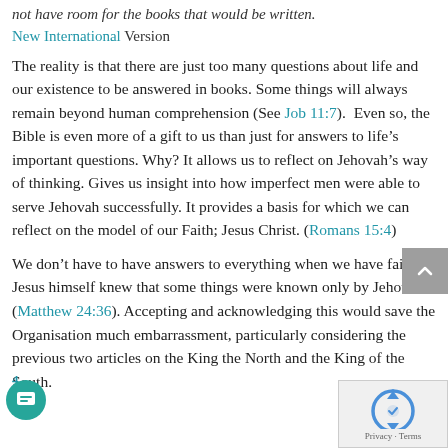not have room for the books that would be written. New International Version
The reality is that there are just too many questions about life and our existence to be answered in books. Some things will always remain beyond human comprehension (See Job 11:7).  Even so, the Bible is even more of a gift to us than just for answers to life’s important questions. Why? It allows us to reflect on Jehovah’s way of thinking. Gives us insight into how imperfect men were able to serve Jehovah successfully. It provides a basis for which we can reflect on the model of our Faith; Jesus Christ. (Romans 15:4)
We don’t have to have answers to everything when we have faith. Jesus himself knew that some things were known only by Jehovah. (Matthew 24:36). Accepting and acknowledging this would save the Organisation much embarrassment, particularly considering the previous two articles on the King the North and the King of the South.
4